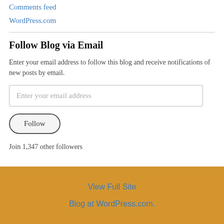Comments feed
WordPress.com
Follow Blog via Email
Enter your email address to follow this blog and receive notifications of new posts by email.
Enter your email address
Follow
Join 1,347 other followers
View Full Site
Blog at WordPress.com.